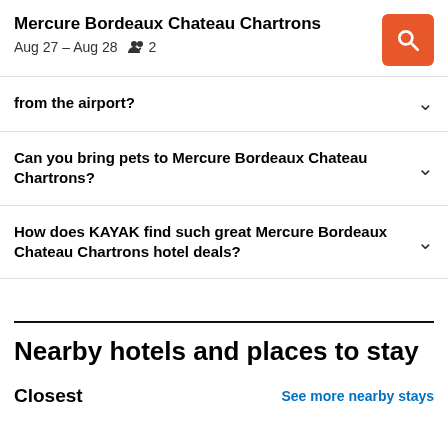Mercure Bordeaux Chateau Chartrons
Aug 27 – Aug 28  👥 2
from the airport?
Can you bring pets to Mercure Bordeaux Chateau Chartrons?
How does KAYAK find such great Mercure Bordeaux Chateau Chartrons hotel deals?
Nearby hotels and places to stay
Closest
See more nearby stays